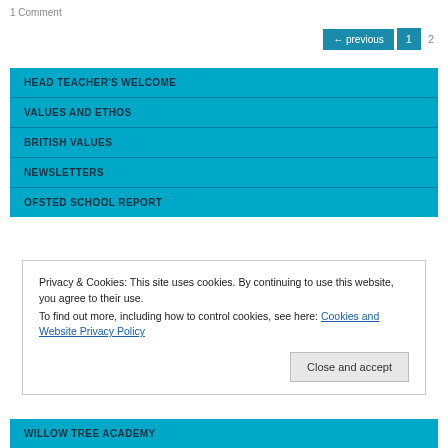1 Comment
← previous  1  2
HEAD TEACHER'S WELCOME
VALUES AND ETHOS
BRITISH VALUES
NEWSLETTERS
OFSTED SCHOOL REPORT
Privacy & Cookies: This site uses cookies. By continuing to use this website, you agree to their use.
To find out more, including how to control cookies, see here: Cookies and Website Privacy Policy
Close and accept
WILLOW TREE ACADEMY